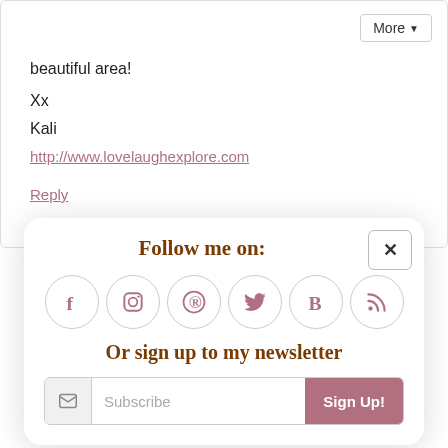beautiful area!
Xx
Kali
http://www.lovelaughexplore.com
Reply
BabyAnn @Travellette(net) says:
Follow me on:
[Figure (infographic): Six social media icon circles: Facebook, Instagram, Pinterest, Twitter, Bloglovin, RSS]
Or sign up to my newsletter
Subscribe  Sign Up!
waiting! Gotta say, as much as we enjoy your stories around Germany, we've been loving Montenegro!